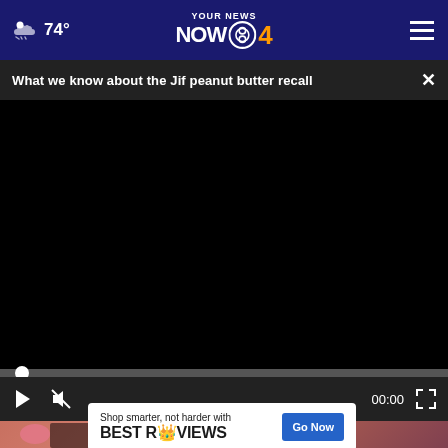74° YOUR NEWS NOW CBS4
What we know about the Jif peanut butter recall
[Figure (screenshot): Video player area showing a black screen with playback controls: play button, mute button, time display 00:00, and fullscreen button. Progress bar with scrubber at start.]
[Figure (photo): Partial image of a person with tattoos and pink nails, partially obscured by advertisement overlay]
Shop smarter, not harder with BESTREVIEWS   Go Now